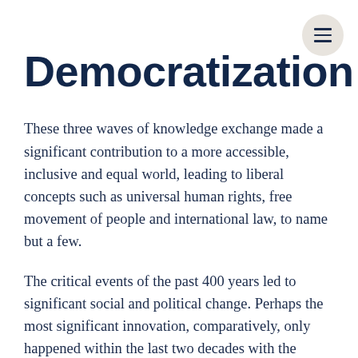Democratization
These three waves of knowledge exchange made a significant contribution to a more accessible, inclusive and equal world, leading to liberal concepts such as universal human rights, free movement of people and international law, to name but a few.
The critical events of the past 400 years led to significant social and political change. Perhaps the most significant innovation, comparatively, only happened within the last two decades with the creation of the World Wide Web and the rapid adoption of innovative methods of collaboration, knowledge exchange and new ways of measuring